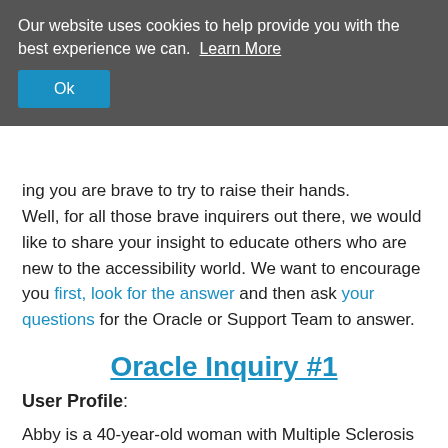Our website uses cookies to help provide you with the best experience we can. Learn More
Ok
...ing you are brave to try to raise their hands. Well, for all those brave inquirers out there, we would like to share your insight to educate others who are new to the accessibility world. We want to encourage you first, look for the answer and then ask your questions for the Oracle or Support Team to answer.
Oracle Inquiry #1
User Profile:
Abby is a 40-year-old woman with Multiple Sclerosis and her favourite independent activity is to read